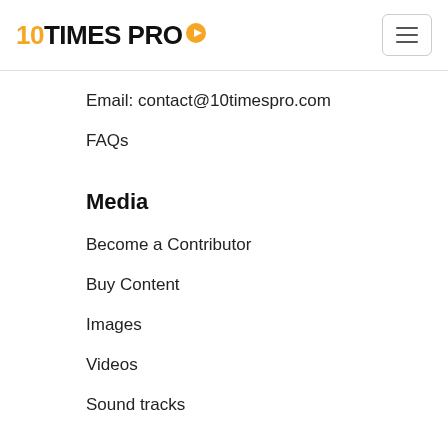10TIMES PRO
Email: contact@10timespro.com
FAQs
Media
Become a Contributor
Buy Content
Images
Videos
Sound tracks